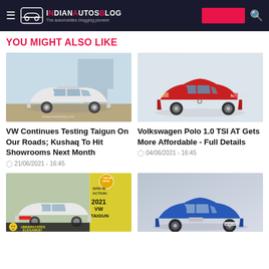IndianAutosBlog - The automobiles blogging pioneer
YOU MIGHT ALSO LIKE
[Figure (photo): White VW Taigun SUV on a road, front three-quarter view]
VW Continues Testing Taigun On Our Roads; Kushaq To Hit Showrooms Next Month
21/06/2021 - 16:45
[Figure (photo): Red Volkswagen Polo New model front three-quarter view on white background]
Volkswagen Polo 1.0 TSI AT Gets More Affordable - Full Details
04/06/2021 - 16:45
[Figure (photo): White VW Taigun SUV with yellow promotional overlay 2021 VW Taigun Speed in Action, Understated Elegance]
[Figure (photo): Blue Volkswagen Polo front three-quarter view on grey background]